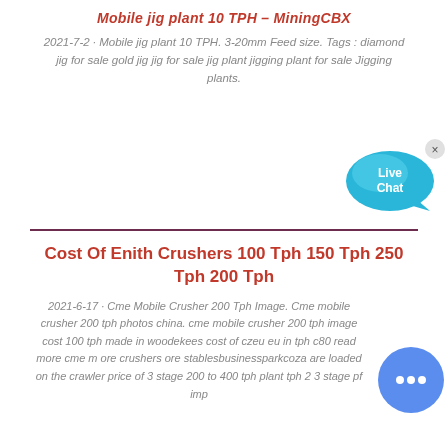Mobile jig plant 10 TPH – MiningCBX
2021-7-2 · Mobile jig plant 10 TPH. 3-20mm Feed size. Tags : diamond jig for sale gold jig jig for sale jig plant jigging plant for sale Jigging plants.
[Figure (other): Live Chat button widget — speech bubble with 'Live Chat' text in blue/cyan]
Cost Of Enith Crushers 100 Tph 150 Tph 250 Tph 200 Tph
2021-6-17 · Cme Mobile Crusher 200 Tph Image. Cme mobile crusher 200 tph photos china. cme mobile crusher 200 tph image cost 100 tph made in woodekees cost of czeu eu in tph c80 read more cme mobile ore crushers ore stablesbusinessparkcoza are loaded on the crawler price of 3 stage 200 to 400 tph plant tph 2 3 stage pf impact
[Figure (other): Blue circular chat button widget with ellipsis dots]